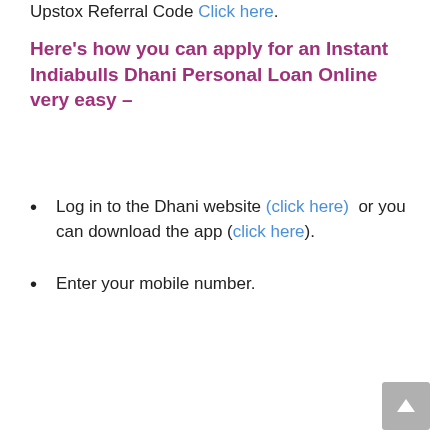Upstox Referral Code Click here.
Here's how you can apply for an Instant Indiabulls Dhani Personal Loan Online very easy –
Log in to the Dhani website (click here)  or you can download the app (click here).
Enter your mobile number.